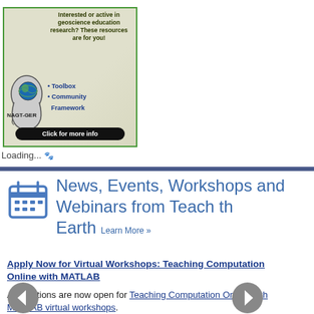[Figure (illustration): NAGT-GER advertisement: green-bordered box with a head/brain silhouette containing a globe, dark green bold text 'Interested or active in geoscience education research? These resources are for you!' with blue bullet points 'Toolbox' and 'Community Framework', NAGT-GER label, and black rounded button 'Click for more info']
Loading...
News, Events, Workshops and Webinars from Teach the Earth  Learn More »
Apply Now for Virtual Workshops: Teaching Computation Online with MATLAB
Applications are now open for Teaching Computation Online with MATLAB virtual workshops.